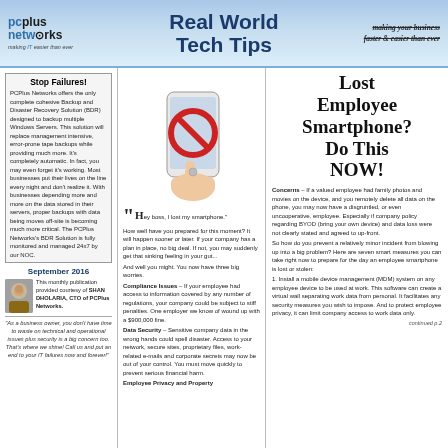pcplus networks | Real World Tech Tips | making your business faster & easier than ever
Stop Failures!
PCPlus Networks offers the only complete cohesive Backup and Disaster Recovery Solution (BDR) designed to backup multiple Windows Servers. This solution will replace management intensive, error-prone tape backups while providing much more. It's completely automatic. In fact, you may even forget it's working. Most businesses put their lives on the line every night and don't realize it. With businesses depending more and more on the data stored in their servers, proper backups with data being moves off-site is becoming much more critical. The PCPlus Networks's BDR Solution is fully monitored and managed 24x7 by our NOC.
September 2016
This monthly publication provided courtesy of SHAN DHOLARIA, CTO of PCPlus Networks.
"As a business owner, you don't have time to waste on technical and operational issues plus security is a big concern too. That's where we shine! Call us and put an end to your IT failures now and forever!"
[Figure (photo): Hand holding a smartphone with a red prohibition/no symbol on the screen]
Lost Employee Smartphone? Do This NOW!
"Hey boss, I lost my smartphone." How well have you prepared for this moment? It will happen sooner or later. If your company has a plan in place, no big deal. If not, you may suddenly get that sinking feeling in your gut... And well you might. You now have three big worries. Compliance Issues – If your employee had access to information covered by any number of regulations, your company could be subject to stiff penalties. One employer we know of wound up with a $900,000 fine. Data Security – Sensitive company data in the wrong hands could spell disaster. Access to your network, secure sites, proprietary files, work-related e-mails and corporate secrets may now be out of your control. You must move quickly to prevent serious financial harm. Employee Privacy and Property Concerns – If a valued employee had family photos and movies on the device, and you remotely delete all data on the phone, you may now have a disgruntled, or even uncooperative, employee. Especially if company policy regarding BYOD (bring your own device) and data loss were not clearly stated and agreed to up-front. So how do you prevent a relatively minor incident from blowing up into a big problem? Here are seven smart measures you can take right now to prepare for the day an employee smartphone is lost or stolen:
1. Install a mobile device management (MDM) system on any employee device to be used at work. This software can create a virtual wall separating work data from personal. It facilitates any security measures you wish to impose. And to protect employee privacy, it can limit company access to work data only.